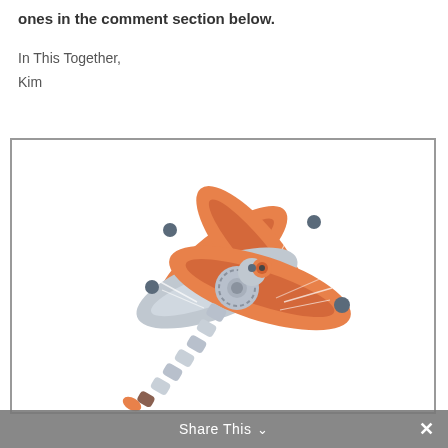ones in the comment section below.
In This Together,
Kim
[Figure (illustration): Illustration of a dragonfly with orange wings and grey body against a white background, bordered by a grey rectangle frame.]
Share This ∨  ✕